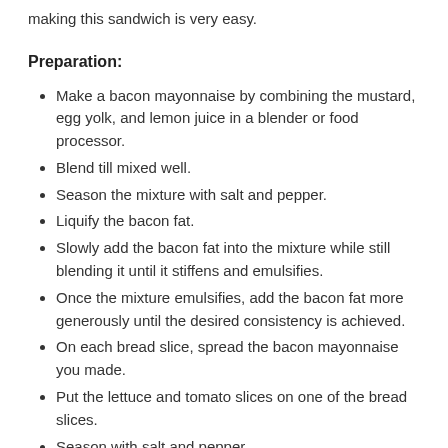making this sandwich is very easy.
Preparation:
Make a bacon mayonnaise by combining the mustard, egg yolk, and lemon juice in a blender or food processor.
Blend till mixed well.
Season the mixture with salt and pepper.
Liquify the bacon fat.
Slowly add the bacon fat into the mixture while still blending it until it stiffens and emulsifies.
Once the mixture emulsifies, add the bacon fat more generously until the desired consistency is achieved.
On each bread slice, spread the bacon mayonnaise you made.
Put the lettuce and tomato slices on one of the bread slices.
Season with salt and pepper.